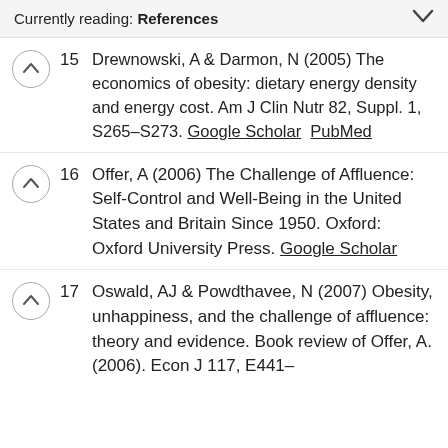Currently reading: References
15 Drewnowski, A & Darmon, N (2005) The economics of obesity: dietary energy density and energy cost. Am J Clin Nutr 82, Suppl. 1, S265–S273. Google Scholar  PubMed
16 Offer, A (2006) The Challenge of Affluence: Self-Control and Well-Being in the United States and Britain Since 1950. Oxford: Oxford University Press. Google Scholar
17 Oswald, AJ & Powdthavee, N (2007) Obesity, unhappiness, and the challenge of affluence: theory and evidence. Book review of Offer, A. (2006). Econ J 117, E441–